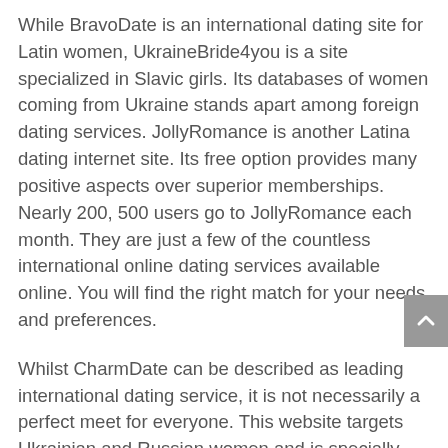While BravoDate is an international dating site for Latin women, UkraineBride4you is a site specialized in Slavic girls. Its databases of women coming from Ukraine stands apart among foreign dating services. JollyRomance is another Latina dating internet site. Its free option provides many positive aspects over superior memberships. Nearly 200, 500 users go to JollyRomance each month. They are just a few of the countless international online dating services available online. You will find the right match for your needs and preferences.
Whilst CharmDate can be described as leading international dating service, it is not necessarily a perfect meet for everyone. This website targets Ukrainian and Russian women and is specially convenient for folks living in The european union. The site provides video and standard chat as well as call up services. Users can find a wife in a few clicks. It's recommended for those 18 and also and offers a user